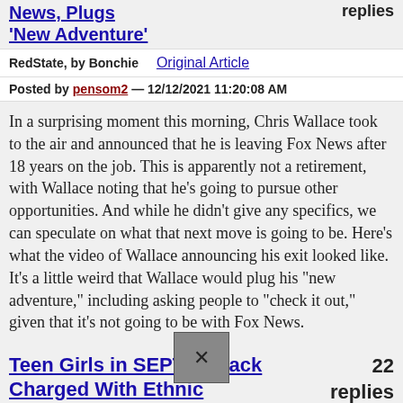News, Plugs 'New Adventure'
replies
RedState, by Bonchie
Original Article
Posted by pensom2 — 12/12/2021 11:20:08 AM
In a surprising moment this morning, Chris Wallace took to the air and announced that he is leaving Fox News after 18 years on the job. This is apparently not a retirement, with Wallace noting that he's going to pursue other opportunities. And while he didn't give any specifics, we can speculate on what that next move is going to be. Here's what the video of Wallace announcing his exit looked like. It's a little weird that Wallace would plug his “new adventure,” including asking people to “check it out,” given that it's not going to be with Fox News.
Teen Girls in SEPTA Attack Charged With Ethnic Intimidation
22 replies